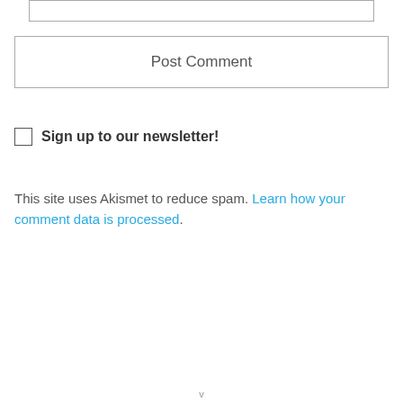[Figure (other): Empty text input box at top of page]
Post Comment
Sign up to our newsletter!
This site uses Akismet to reduce spam. Learn how your comment data is processed.